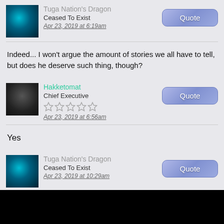Tuga Nation's Dragon
Ceased To Exist
Apr 23, 2019 at 6:19am
Indeed... I won't argue the amount of stories we all have to tell, but does he deserve such thing, though?
Hakketomat
Chief Executive
Apr 23, 2019 at 6:56am
Yes
Tuga Nation's Dragon
Ceased To Exist
Apr 23, 2019 at 10:29am
Hakketomat said:
Yes